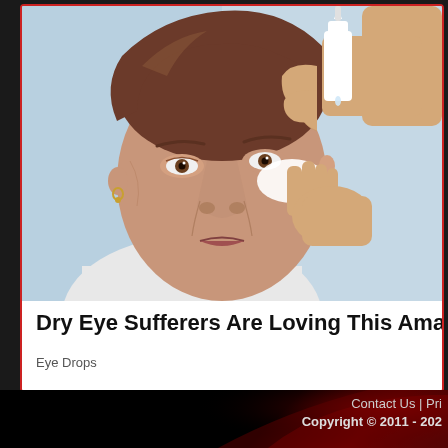[Figure (photo): An older woman tilting her head back while someone administers eye drops into her eye. The woman has short brown hair and gold earrings. A hand holding a white eye drop bottle is visible on the right.]
Dry Eye Sufferers Are Loving This Amazing Eye Dr
Eye Drops
Contact Us | Pri  Copyright © 2011 - 202